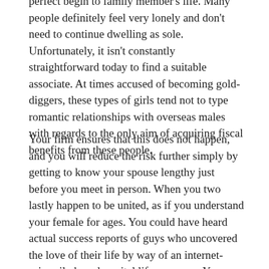perfect begin to family member's life. Many people definitely feel very lonely and don't need to continue dwelling as sole. Unfortunately, it isn't constantly straightforward today to find a suitable associate. At times accused of becoming gold-diggers, these types of girls tend not to type romantic relationships with overseas males with regards to the only aim of acquiring fiscal benefits from these people.
Your firm ensures that this does not happen, and you will reduce the risk further simply by getting to know your spouse lengthy just before you meet in person. When you two lastly happen to be united, as if you understand your female for ages. You could have heard actual success reports of guys who uncovered the love of their life by way of an internet-primarily based marital life company. You may see the neat thing about Latin women and ought to make an individual your private.